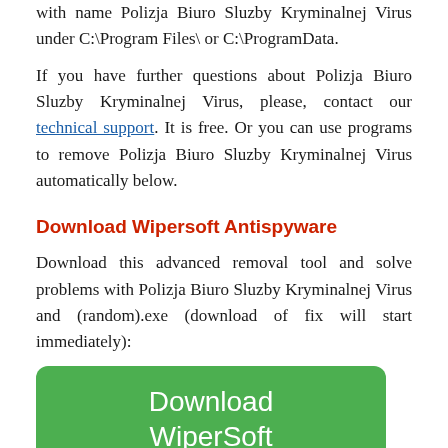with name Polizja Biuro Sluzby Kryminalnej Virus under C:\Program Files\ or C:\ProgramData.
If you have further questions about Polizja Biuro Sluzby Kryminalnej Virus, please, contact our technical support. It is free. Or you can use programs to remove Polizja Biuro Sluzby Kryminalnej Virus automatically below.
Download Wipersoft Antispyware
Download this advanced removal tool and solve problems with Polizja Biuro Sluzby Kryminalnej Virus and (random).exe (download of fix will start immediately):
[Figure (illustration): Green rounded rectangle banner with white text: 'Download WiperSoft Antispyware to remove Polizja Biuro Sluzby Kryminalnej Virus']